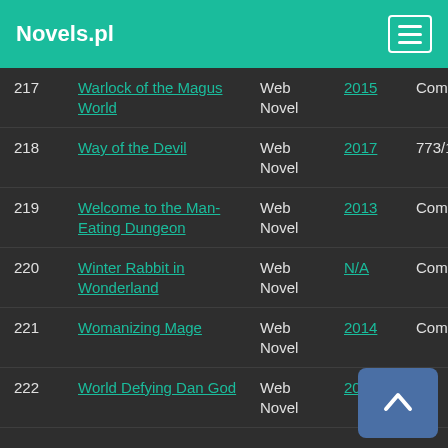Novels.pl
| # | Title | Type | Year | Status |
| --- | --- | --- | --- | --- |
| 217 | Warlock of the Magus World | Web Novel | 2015 | Completed(12... |
| 218 | Way of the Devil | Web Novel | 2017 | 773/1213 |
| 219 | Welcome to the Man-Eating Dungeon | Web Novel | 2013 | Completed(13... |
| 220 | Winter Rabbit in Wonderland | Web Novel | N/A | Completed(10... |
| 221 | Womanizing Mage | Web Novel | 2014 | Completed(68... |
| 222 | World Defying Dan God | Web Novel | 2012 | 38... |